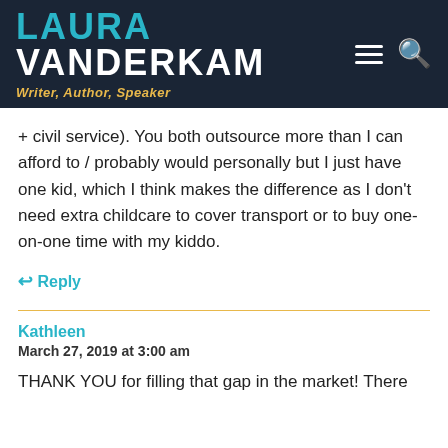LAURA VANDERKAM — Writer, Author, Speaker
+ civil service). You both outsource more than I can afford to / probably would personally but I just have one kid, which I think makes the difference as I don't need extra childcare to cover transport or to buy one-on-one time with my kiddo.
↩ Reply
Kathleen
March 27, 2019 at 3:00 am
THANK YOU for filling that gap in the market! There